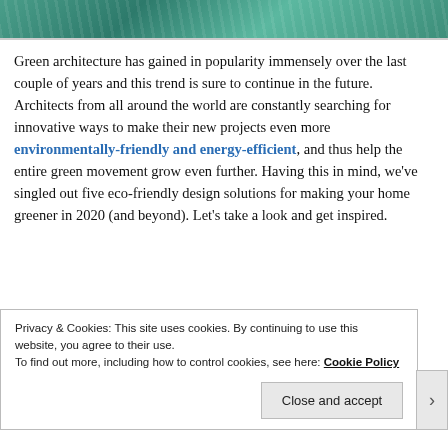[Figure (photo): Partial view of a green architectural or nature image at the top of the page]
Green architecture has gained in popularity immensely over the last couple of years and this trend is sure to continue in the future. Architects from all around the world are constantly searching for innovative ways to make their new projects even more environmentally-friendly and energy-efficient, and thus help the entire green movement grow even further. Having this in mind, we've singled out five eco-friendly design solutions for making your home greener in 2020 (and beyond). Let's take a look and get inspired.
Privacy & Cookies: This site uses cookies. By continuing to use this website, you agree to their use.
To find out more, including how to control cookies, see here: Cookie Policy
Close and accept